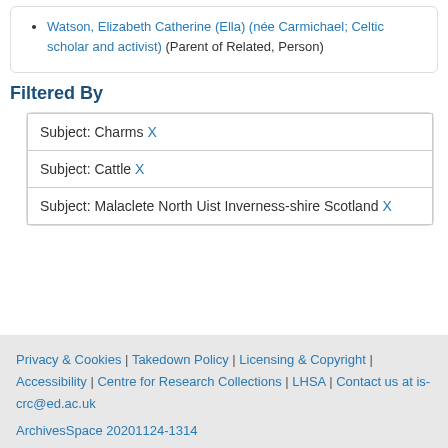Watson, Elizabeth Catherine (Ella) (née Carmichael; Celtic scholar and activist) (Parent of Related, Person)
Filtered By
| Subject: Charms X |
| Subject: Cattle X |
| Subject: Malaclete North Uist Inverness-shire Scotland X |
Privacy & Cookies | Takedown Policy | Licensing & Copyright | Accessibility | Centre for Research Collections | LHSA | Contact us at is-crc@ed.ac.uk
ArchivesSpace 20201124-1314